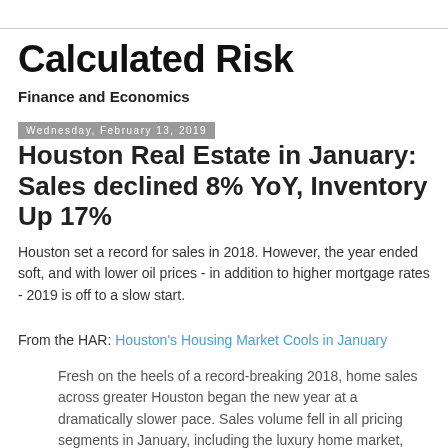Calculated Risk
Finance and Economics
Wednesday, February 13, 2019
Houston Real Estate in January: Sales declined 8% YoY, Inventory Up 17%
Houston set a record for sales in 2018. However, the year ended soft, and with lower oil prices - in addition to higher mortgage rates - 2019 is off to a slow start.
From the HAR: Houston's Housing Market Cools in January
Fresh on the heels of a record-breaking 2018, home sales across greater Houston began the new year at a dramatically slower pace. Sales volume fell in all pricing segments in January, including the luxury home market, which saw its